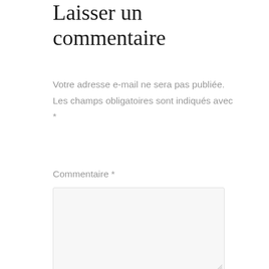Laisser un commentaire
Votre adresse e-mail ne sera pas publiée. Les champs obligatoires sont indiqués avec *
Commentaire *
[Figure (other): Empty comment textarea input box]